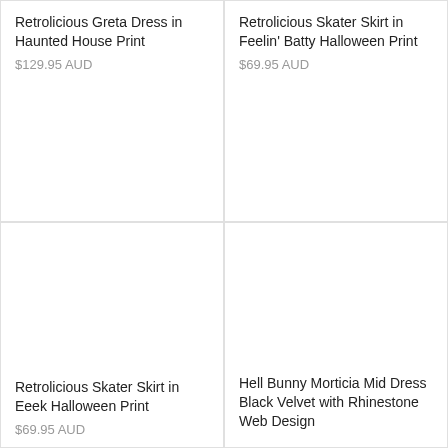Retrolicious Greta Dress in Haunted House Print
$129.95 AUD
Retrolicious Skater Skirt in Feelin' Batty Halloween Print
$69.95 AUD
Retrolicious Skater Skirt in Eeek Halloween Print
$69.95 AUD
Hell Bunny Morticia Mid Dress Black Velvet with Rhinestone Web Design